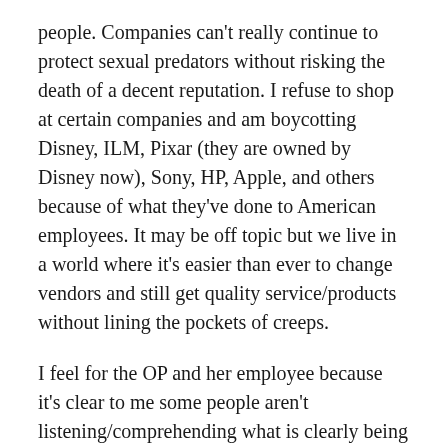people. Companies can't really continue to protect sexual predators without risking the death of a decent reputation. I refuse to shop at certain companies and am boycotting Disney, ILM, Pixar (they are owned by Disney now), Sony, HP, Apple, and others because of what they've done to American employees. It may be off topic but we live in a world where it's easier than ever to change vendors and still get quality service/products without lining the pockets of creeps.
I feel for the OP and her employee because it's clear to me some people aren't listening/comprehending what is clearly being stated. I wish there were more managers like this poster and it pains me to see so many people trying to soften the blow to the offender. If he's an adult male then one NO was enough period.
COMMENTS ARE CLOSED.